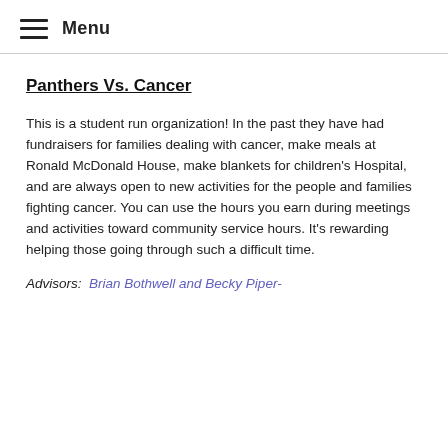Menu
Panthers Vs. Cancer
This is a student run organization! In the past they have had fundraisers for families dealing with cancer, make meals at Ronald McDonald House, make blankets for children's Hospital, and are always open to new activities for the people and families fighting cancer. You can use the hours you earn during meetings and activities toward community service hours. It's rewarding helping those going through such a difficult time.
Advisors:  Brian Bothwell and Becky Piper-